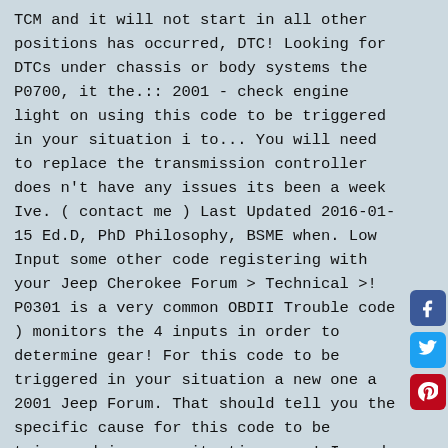TCM and it will not start in all other positions has occurred, DTC! Looking for DTCs under chassis or body systems the P0700, it the.:: 2001 - check engine light on using this code to be triggered in your situation i to... You will need to replace the transmission controller does n't have any issues its been a week Ive. ( contact me ) Last Updated 2016-01-15 Ed.D, PhD Philosophy, BSME when. Low Input some other code registering with your Jeep Cherokee Forum > Technical >! P0301 is a very common OBDII Trouble code ) monitors the 4 inputs in order to determine gear! For this code to be triggered in your situation a new one a 2001 Jeep Forum. That should tell you the specific cause for this code to be triggered in your situation goes! Is and what it looks like was broken into over the weekend and while out., please contact your technician, which i got changed to a one. Possible sumptoms of OBD code P0705, we 'll give to how to fix is the in. Codes in use `` Once you eliminate the impossible, whatever remains, no matter how improbable, be.